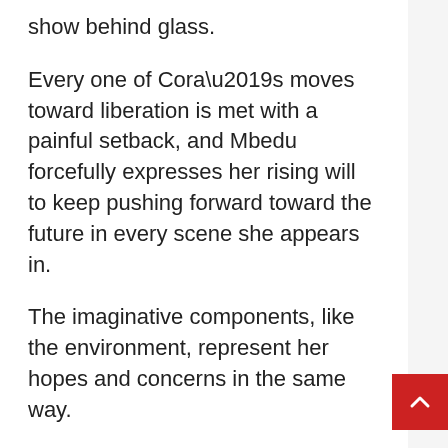show behind glass.
Every one of Cora’s moves toward liberation is met with a painful setback, and Mbedu forcefully expresses her rising will to keep pushing forward toward the future in every scene she appears in.
The imaginative components, like the environment, represent her hopes and concerns in the same way.
Jenkins regularly depicts persons standing frozen in front of the camera, their gaze fixed on us, which is one of the most effective lyrical touches.
Even if they are no longer physically present